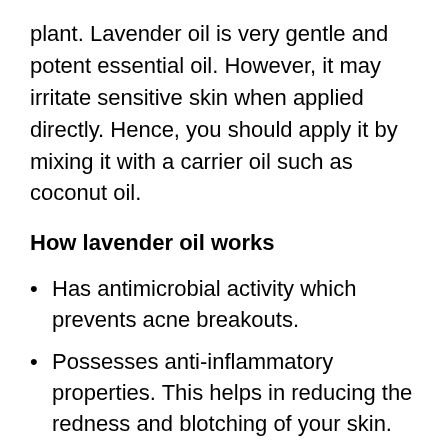plant. Lavender oil is very gentle and potent essential oil. However, it may irritate sensitive skin when applied directly. Hence, you should apply it by mixing it with a carrier oil such as coconut oil.
How lavender oil works
Has antimicrobial activity which prevents acne breakouts.
Possesses anti-inflammatory properties. This helps in reducing the redness and blotching of your skin.
Helps in reducing age spots and lightening other kinds of hyperpigmentation of the skin.
It is also a rich source of antioxidants; therefore, it helps in protecting your skin from